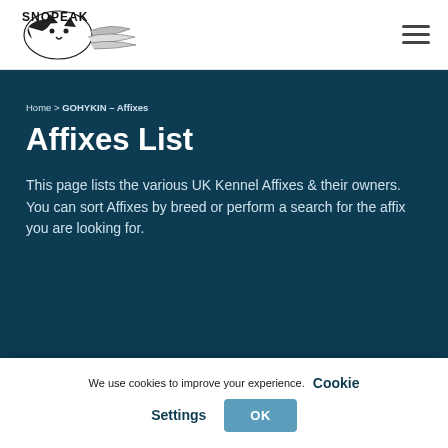[Figure (logo): Snopeak logo with stylized husky/wolf graphic and text SNOPEAK]
SNOPEAK site header with logo and hamburger menu
Home > GOHYKIN – Affixes
Affixes List
This page lists the various UK Kennel Affixes & their owners.  You can sort Affixes by breed or perform a search for the affix you are looking for.
We use cookies to improve your experience.  Cookie Settings  OK